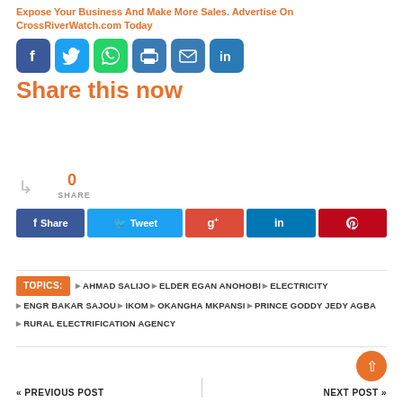Expose Your Business And Make More Sales. Advertise On CrossRiverWatch.com Today
[Figure (other): Row of social media share icons: Facebook (blue), Twitter (light blue), WhatsApp (green), Print (blue), Email (blue), LinkedIn (dark blue)]
Share this now
0 SHARE
[Figure (other): Share buttons row: Share (dark blue), Tweet (light blue), g+ (red), in (teal), pinterest (dark red)]
TOPICS: AHMAD SALIJO  ELDER EGAN ANOHOBI  ELECTRICITY  ENGR BAKAR SAJOU  IKOM  OKANGHA MKPANSI  PRINCE GODDY JEDY AGBA  RURAL ELECTRIFICATION AGENCY
PREVIOUS POST
NEXT POST